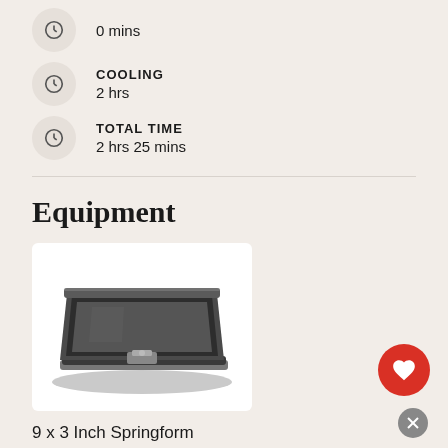0 mins
COOLING
2 hrs
TOTAL TIME
2 hrs 25 mins
Equipment
[Figure (photo): A rectangular non-stick springform baking pan photographed from a 3/4 angle, showing the latch mechanism on the side and the removable base.]
9 x 3 Inch Springform